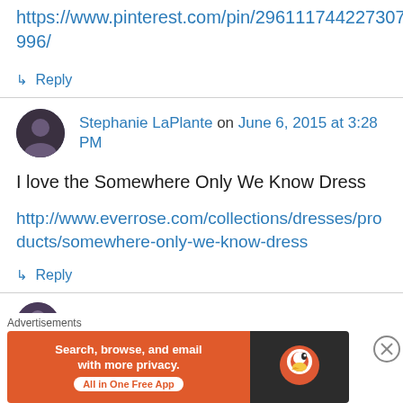https://www.pinterest.com/pin/296111744227307996/
↳ Reply
Stephanie LaPlante on June 6, 2015 at 3:28 PM
I love the Somewhere Only We Know Dress
http://www.everrose.com/collections/dresses/products/somewhere-only-we-know-dress
↳ Reply
Stephanie LaPlante on June 6, 2015 at 3:31 PM
Advertisements
[Figure (screenshot): DuckDuckGo advertisement banner: Search, browse, and email with more privacy. All in One Free App]